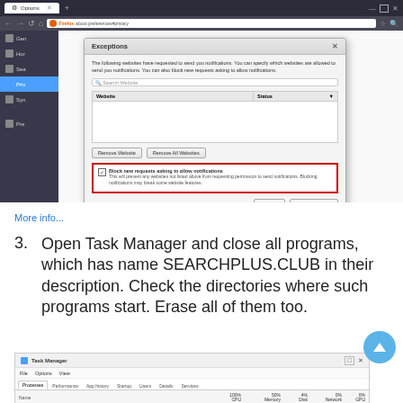[Figure (screenshot): Firefox browser showing Exceptions dialog with 'Block new requests asking to allow notifications' checkbox highlighted in red border. The Exceptions dialog contains Website/Status columns and Cancel/Save Changes buttons.]
More info...
Open Task Manager and close all programs, which has name SEARCHPLUS.CLUB in their description. Check the directories where such programs start. Erase all of them too.
[Figure (screenshot): Windows Task Manager showing Processes tab with Google Chrome using 100% CPU, 131.3 MB Memory, 1.8 MB/s Disk, 0 Mbps Network, 0% GPU 0.]